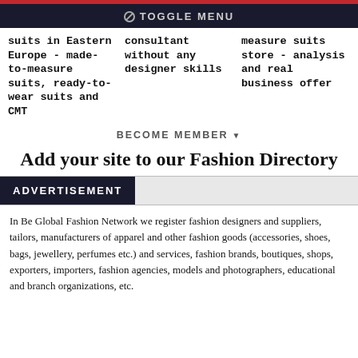TOGGLE MENU
suits in Eastern Europe - made-to-measure suits, ready-to-wear suits and CMT
consultant without any designer skills
measure suits store - analysis and real business offer
BECOME MEMBER▼
Add your site to our Fashion Directory
ADVERTISEMENT
In Be Global Fashion Network we register fashion designers and suppliers, tailors, manufacturers of apparel and other fashion goods (accessories, shoes, bags, jewellery, perfumes etc.) and services, fashion brands, boutiques, shops, exporters, importers, fashion agencies, models and photographers, educational and branch organizations, etc.